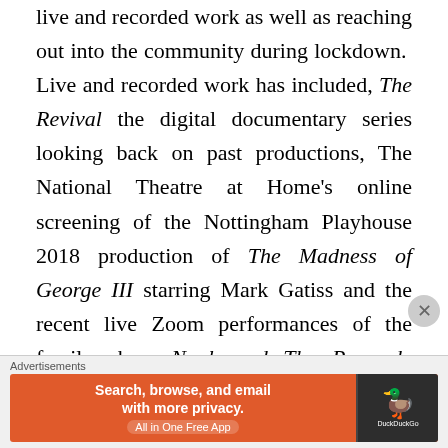live and recorded work as well as reaching out into the community during lockdown. Live and recorded work has included, The Revival the digital documentary series looking back on past productions, The National Theatre at Home's online screening of the Nottingham Playhouse 2018 production of The Madness of George III starring Mark Gatiss and the recent live Zoom performances of the family show Noah and The Peacock, which is back over the summer due to demand. Community and participation work has included Shine youth
[Figure (screenshot): DuckDuckGo advertisement banner: orange background with text 'Search, browse, and email with more privacy. All in One Free App' and DuckDuckGo logo on dark background on the right.]